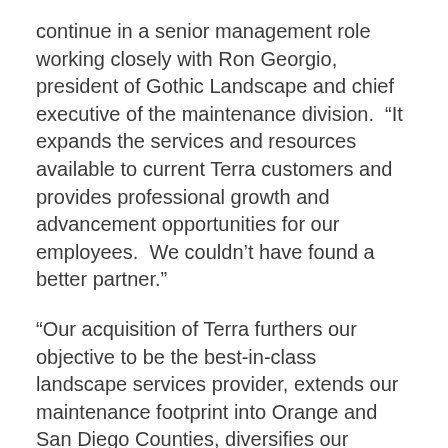continue in a senior management role working closely with Ron Georgio, president of Gothic Landscape and chief executive of the maintenance division.  “It expands the services and resources available to current Terra customers and provides professional growth and advancement opportunities for our employees.  We couldn’t have found a better partner.”
“Our acquisition of Terra furthers our objective to be the best-in-class landscape services provider, extends our maintenance footprint into Orange and San Diego Counties, diversifies our portfolio of services and clients and provides additional synergies, particularly in tree, water and sustainability strategies,” Ron Georgio added.  “We welcome Rich and the entire Terra family of employees to our company.”